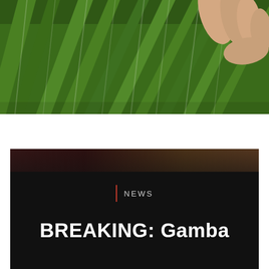[Figure (photo): Close-up photograph of a hand touching or holding large green tropical leaves/grass blades from above.]
[Figure (photo): Dark card with a blurred background image showing warm reddish-brown tones at the top, with a news section label and a breaking news headline below.]
NEWS
BREAKING: Gamba